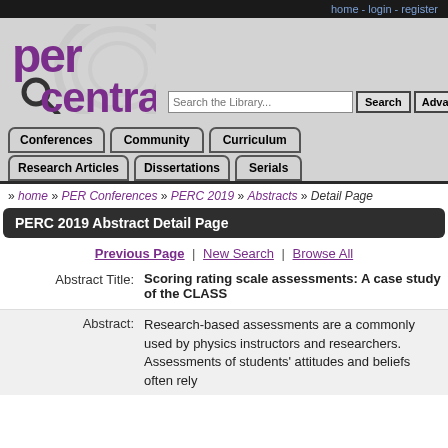home - login - register
[Figure (logo): PER Central logo with magnifying glass icon]
Conferences | Community | Curriculum | Research Articles | Dissertations | Serials
» home » PER Conferences » PERC 2019 » Abstracts » Detail Page
PERC 2019 Abstract Detail Page
Previous Page | New Search | Browse All
Abstract Title: Scoring rating scale assessments: A case study of the CLASS
Abstract: Research-based assessments are a commonly used by physics instructors and researchers. Assessments of students' attitudes and beliefs often rely